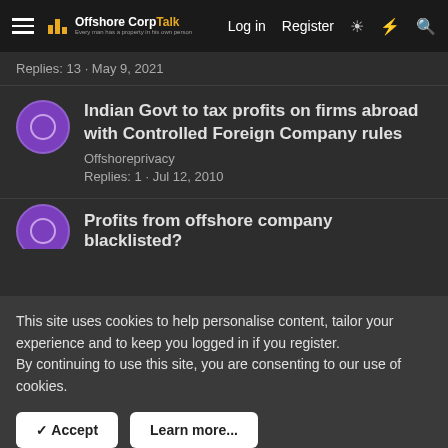OffshoreCorpTalk — Log in | Register
Replies: 13 · May 9, 2021
Indian Govt to tax profits on firms abroad with Controlled Foreign Company rules
Offshoreprivacy
Replies: 1 · Jul 12, 2010
Profits from offshore company blacklisted?
This site uses cookies to help personalise content, tailor your experience and to keep you logged in if you register.
By continuing to use this site, you are consenting to our use of cookies.
✓ Accept | Learn more...
[Figure (screenshot): DLS Dubai Bank Account Dubai advertisement banner with city skyline graphic and CLICK HERE button]